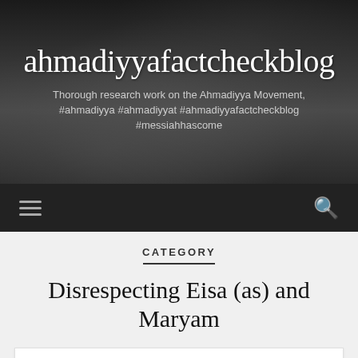ahmadiyyafactcheckblog
Thorough research work on the Ahmadiyya Movement, #ahmadiyya #ahmadiyyat #ahmadiyyafactcheckblog #messiahhascome
CATEGORY
Disrespecting Eisa (as) and Maryam
Mirza Ghulam Ahmad